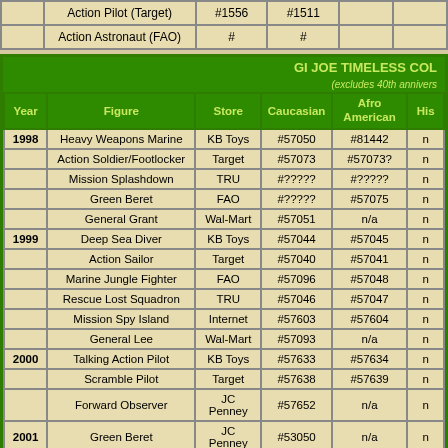|  | Figure | Store | Caucasian | Afro American | His |
| --- | --- | --- | --- | --- | --- |
|  | Action Pilot (Target) | #1556 | #1511 |  |  |
|  | Action Astronaut (FAO) | # | # |  |  |
GI JOE TIMELESS COL (excludes 40th annivers
| Year | Figure | Store | Caucasian | Afro American | His |
| --- | --- | --- | --- | --- | --- |
| 1998 | Heavy Weapons Marine | KB Toys | #57050 | #81442 | n |
|  | Action Soldier/Footlocker | Target | #57073 | #57073? | n |
|  | Mission Splashdown | TRU | #????? | #????? | n |
|  | Green Beret | FAO | #????? | #57075 | n |
|  | General Grant | Wal-Mart | #57051 | n/a | n |
| 1999 | Deep Sea Diver | KB Toys | #57044 | #57045 | n |
|  | Action Sailor | Target | #57040 | #57041 | n |
|  | Marine Jungle Fighter | FAO | #57096 | #57048 | n |
|  | Rescue Lost Squadron | TRU | #57046 | #57047 | n |
|  | Mission Spy Island | Internet | #57603 | #57604 | n |
|  | General Lee | Wal-Mart | #57093 | n/a | n |
| 2000 | Talking Action Pilot | KB Toys | #57633 | #57634 | n |
|  | Scramble Pilot | Target | #57638 | #57639 | n |
|  | Forward Observer | JC Penney | #57652 | n/a | n |
| 2001 | Green Beret | JC Penney | #53050 | n/a | n |